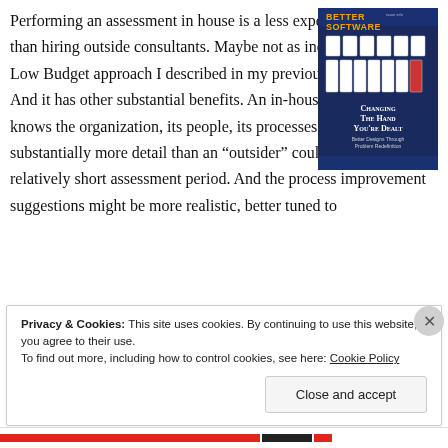Performing an assessment in house is a less expensive initiative than hiring outside consultants. Maybe not as inexpensive as the Low Budget approach I described in my previous post, but still. And it has other substantial benefits. An in-house assessment team knows the organization, its people, its processes, and its habits in substantially more detail than an “outsider” could learn during the relatively short assessment period. And the process improvement suggestions might be more realistic, better tuned to
[Figure (photo): Cover of Better Software magazine showing playing cards with the headline 'Changing The Hand You're Dealt: Better Designs Through Problem Redefinition']
Privacy & Cookies: This site uses cookies. By continuing to use this website, you agree to their use.
To find out more, including how to control cookies, see here: Cookie Policy
Close and accept